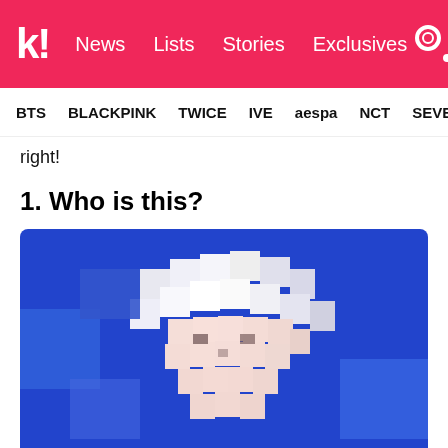kpopstarz — News | Lists | Stories | Exclusives
BTS | BLACKPINK | TWICE | IVE | aespa | NCT | SEVE
right!
1. Who is this?
[Figure (photo): Heavily pixelated/blurred photo of a K-pop idol with white/blonde short hair against a blue background, face obscured as a guessing game element.]